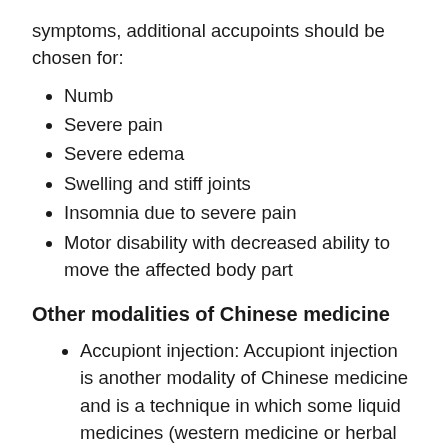symptoms, additional accupoints should be chosen for:
Numb
Severe pain
Severe edema
Swelling and stiff joints
Insomnia due to severe pain
Motor disability with decreased ability to move the affected body part
Other modalities of Chinese medicine
Accupiont injection: Accupiont injection is another modality of Chinese medicine and is a technique in which some liquid medicines (western medicine or herbal medicine) are